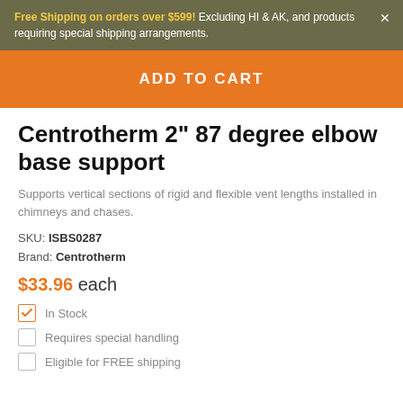Free Shipping on orders over $599! Excluding HI & AK, and products requiring special shipping arrangements.
ADD TO CART
Centrotherm 2" 87 degree elbow base support
Supports vertical sections of rigid and flexible vent lengths installed in chimneys and chases.
SKU: ISBS0287
Brand: Centrotherm
$33.96 each
In Stock
Requires special handling
Eligible for FREE shipping